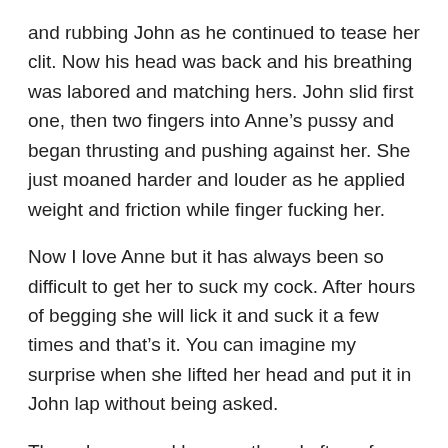and rubbing John as he continued to tease her clit. Now his head was back and his breathing was labored and matching hers. John slid first one, then two fingers into Anne’s pussy and began thrusting and pushing against her. She just moaned harder and louder as he applied weight and friction while finger fucking her.
Now I love Anne but it has always been so difficult to get her to suck my cock. After hours of begging she will lick it and suck it a few times and that’s it. You can imagine my surprise when she lifted her head and put it in John lap without being asked.
Then she opened her mouth and after a few seconds of adjustment to his size began sucking his huge hard cock like she’s does it everyday. One hand was cupping and fondling his balls as her mouth bobbed up and down on